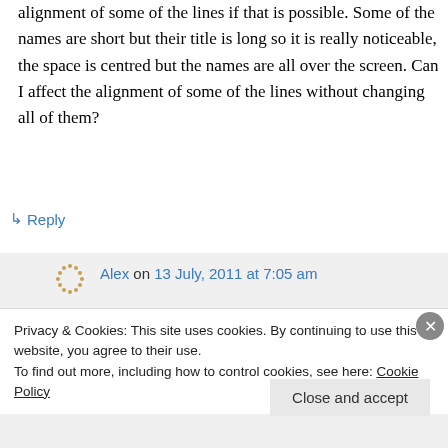alignment of some of the lines if that is possible. Some of the names are short but their title is long so it is really noticeable, the space is centred but the names are all over the screen. Can I affect the alignment of some of the lines without changing all of them?
↳ Reply
Alex on 13 July, 2011 at 7:05 am
Privacy & Cookies: This site uses cookies. By continuing to use this website, you agree to their use.
To find out more, including how to control cookies, see here: Cookie Policy
Close and accept